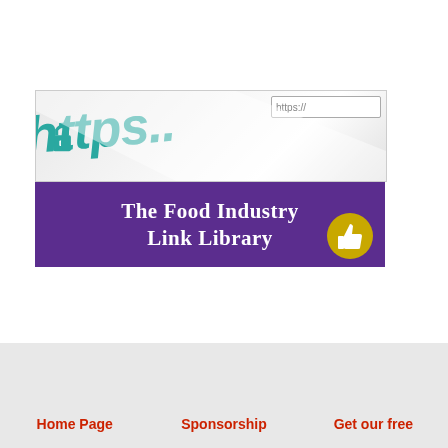[Figure (logo): The Food Industry Link Library banner with https browser imagery on top and purple background with white serif text below, featuring a yellow circular thumb icon]
Home Page    Sponsorship    Get our free